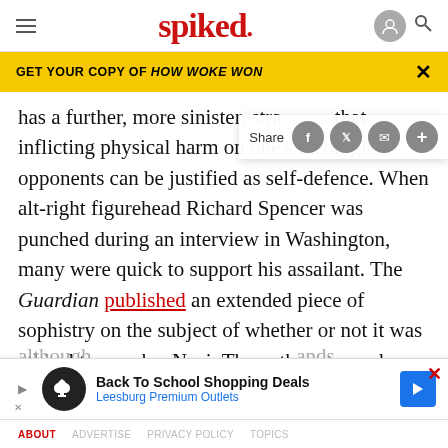spiked
GET YOUR COPY OF HOW WOKE WON
has a further, more sinister, stra… that inflicting physical harm on one's ideological opponents can be justified as self-defence. When alt-right figurehead Richard Spencer was punched during an interview in Washington, many were quick to support his assailant. The Guardian published an extended piece of sophistry on the subject of whether or not it was ethical to punch a Nazi. The author stopped short of actually condoning violence,
Back To School Shopping Deals
Leesburg Premium Outlets
ABOUT